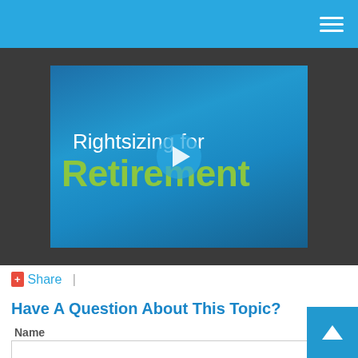Navigation header with hamburger menu
[Figure (screenshot): Video thumbnail for 'Rightsizing for Retirement' showing a play button overlay on a blue gradient background with white and green text]
Share |
Have A Question About This Topic?
Name
[Figure (other): Back to top button with upward arrow, blue square in bottom-right corner]